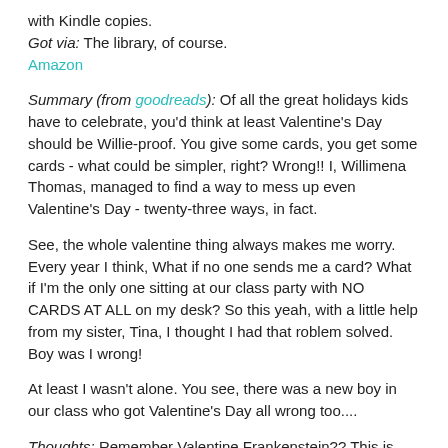with Kindle copies.
Got via: The library, of course.
Amazon
Summary (from goodreads): Of all the great holidays kids have to celebrate, you'd think at least Valentine's Day should be Willie-proof. You give some cards, you get some cards - what could be simpler, right? Wrong!! I, Willimena Thomas, managed to find a way to mess up even Valentine's Day - twenty-three ways, in fact.
See, the whole valentine thing always makes me worry. Every year I think, What if no one sends me a card? What if I'm the only one sitting at our class party with NO CARDS AT ALL on my desk? So this yeah, with a little help from my sister, Tina, I thought I had that roblem solved. Boy was I wrong!
At least I wasn't alone. You see, there was a new boy in our class who got Valentine's Day all wrong too....
Thoughts: Remember Valentine Frankenstein?? This is